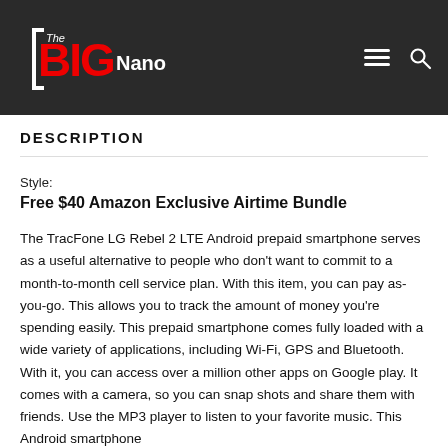[Figure (logo): The BIG Nano website logo with red and white text on dark background, with hamburger menu and search icons]
DESCRIPTION
Style:
Free $40 Amazon Exclusive Airtime Bundle
The TracFone LG Rebel 2 LTE Android prepaid smartphone serves as a useful alternative to people who don't want to commit to a month-to-month cell service plan. With this item, you can pay as-you-go. This allows you to track the amount of money you're spending easily. This prepaid smartphone comes fully loaded with a wide variety of applications, including Wi-Fi, GPS and Bluetooth. With it, you can access over a million other apps on Google play. It comes with a camera, so you can snap shots and share them with friends. Use the MP3 player to listen to your favorite music. This Android smartphone